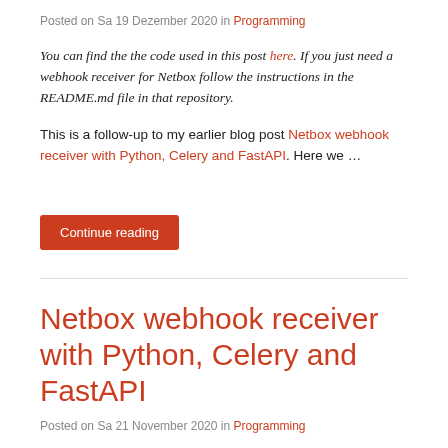Posted on Sa 19 Dezember 2020 in Programming
You can find the the code used in this post here. If you just need a webhook receiver for Netbox follow the instructions in the README.md file in that repository.
This is a follow-up to my earlier blog post Netbox webhook receiver with Python, Celery and FastAPI. Here we …
Continue reading
Netbox webhook receiver with Python, Celery and FastAPI
Posted on Sa 21 November 2020 in Programming